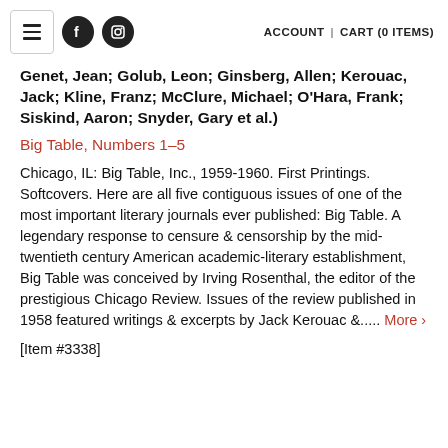ACCOUNT | CART (0 ITEMS)
Genet, Jean; Golub, Leon; Ginsberg, Allen; Kerouac, Jack; Kline, Franz; McClure, Michael; O'Hara, Frank; Siskind, Aaron; Snyder, Gary et al.)
Big Table, Numbers 1–5
Chicago, IL: Big Table, Inc., 1959-1960. First Printings. Softcovers. Here are all five contiguous issues of one of the most important literary journals ever published: Big Table. A legendary response to censure & censorship by the mid-twentieth century American academic-literary establishment, Big Table was conceived by Irving Rosenthal, the editor of the prestigious Chicago Review. Issues of the review published in 1958 featured writings & excerpts by Jack Kerouac &..... More >
[Item #3338]